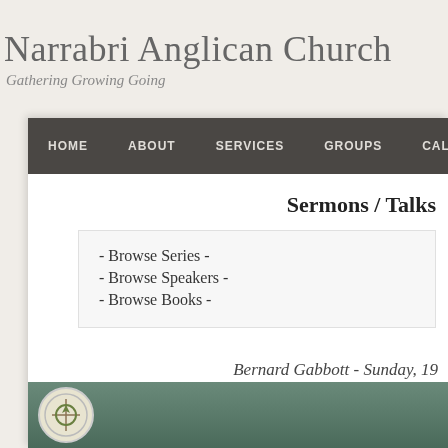Narrabri Anglican Church
Gathering Growing Going
HOME  ABOUT  SERVICES  GROUPS  CALENDAR  PO...
Sermons / Talks
- Browse Series -
- Browse Speakers -
- Browse Books -
Bernard Gabbott - Sunday, 19
Christ and Conso
[Figure (photo): Church logo circular badge on a green/teal background at bottom of page]